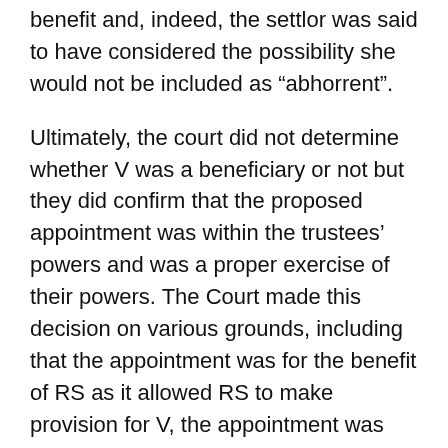benefit and, indeed, the settlor was said to have considered the possibility she would not be included as “abhorrent”.
Ultimately, the court did not determine whether V was a beneficiary or not but they did confirm that the proposed appointment was within the trustees’ powers and was a proper exercise of their powers. The Court made this decision on various grounds, including that the appointment was for the benefit of RS as it allowed RS to make provision for V, the appointment was considered ‘right’ by the family and the inclusion of V would potentially avoid family dissention which was for the benefit of V’s siblings.
As mentioned above, depending on the terms of the trust, it may not be possible to alter the beneficial class or for the